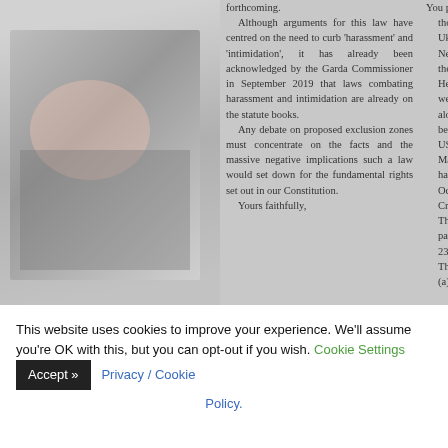[Figure (photo): Blurred/partial newspaper page showing two columns of text and a photograph on the left side. The left portion shows a blurred photo. Two visible text columns contain article text about laws, harassment, intimidation, and a letter closing. The right column mentions Ukraine situation, Cuba Crisis, and US foreign policy.]
forthcoming. Although arguments for this law have centred on the need to curb 'harassment' and 'intimidation', it has already been acknowledged by the Garda Commissioner in September 2019 that laws combating harassment and intimidation are already on the statute books. Any debate on proposed exclusion zones must concentrate on the facts and the massive negative implications such a law would set down for the fundamental rights set out in our Constitution. Yours faithfully,
You published thought-provoking b Ukraine situation Neary in the Sligo C the 10th of August S He wondered b weapons were be along the Mexican belligerent enemie US not invade? Many of your re have been around October 1962 Cub Crisis. The American passed Joined Re 230 # on the 3rd This stated: (a) to prevent
This website uses cookies to improve your experience. We'll assume you're OK with this, but you can opt-out if you wish. Cookie Settings  Accept >>  Privacy / Cookie Policy.